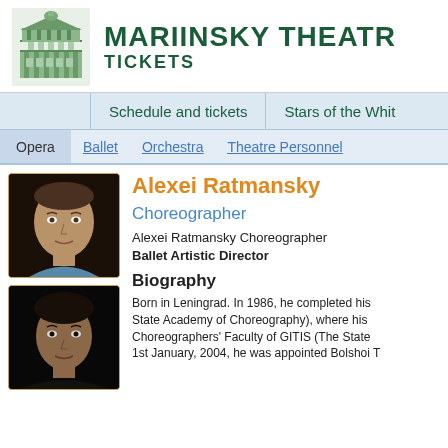MARIINSKY THEATRE TICKETS
Schedule and tickets | Stars of the White
Opera | Ballet | Orchestra | Theatre Personnel
[Figure (photo): Portrait photo of Alexei Ratmansky (lighter image)]
Alexei Ratmansky
Choreographer
Alexei Ratmansky Choreographer
Ballet Artistic Director
[Figure (photo): Portrait photo of Alexei Ratmansky (darker image)]
Biography
Born in Leningrad. In 1986, he completed his State Academy of Choreography), where his Choreographers' Faculty of GITIS (The State 1st January, 2004, he was appointed Bolshoi T